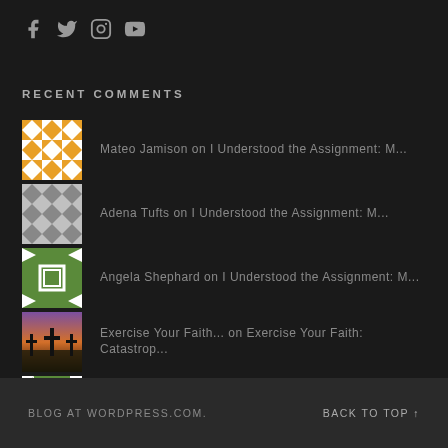[Figure (other): Social media icons: Facebook, Twitter, Instagram, YouTube]
RECENT COMMENTS
Mateo Jamison on I Understood the Assignment: M...
Adena Tufts on I Understood the Assignment: M...
Angela Shephard on I Understood the Assignment: M...
Exercise Your Faith... on Exercise Your Faith: Catastrop...
Everlyne on 7 Characteristics of Backslidi...
BLOG AT WORDPRESS.COM.    BACK TO TOP ↑